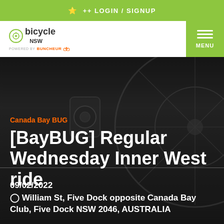LOGIN / SIGNUP
[Figure (logo): Bicycle NSW logo with circular wheel icon and 'powered by Buncheur' text below]
Canada Bay BUG
[BayBUG] Regular Wednesday Inner West ride
09/02/2022
William St, Five Dock opposite Canada Bay Club, Five Dock NSW 2046, AUSTRALIA